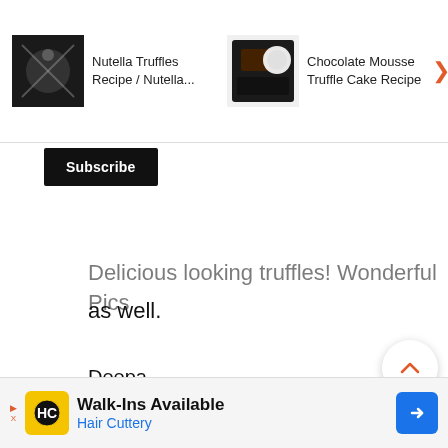[Figure (screenshot): Top navigation banner showing recipe thumbnails: Nutella Truffles Recipe / Nutella..., Chocolate Mousse Truffle Cake Recipe, Carrot & Raisar> Pakoras /...]
[Figure (screenshot): Black Subscribe button]
Delicious looking truffles! Wonderful Pics as well.
Deepa
Hamaree Rasoi
[Figure (screenshot): UI overlay: up arrow button, vote count 34, REPLY button, heart button, orange search button, X close button]
[Figure (screenshot): Bottom advertisement banner: Walk-Ins Available, Hair Cuttery]